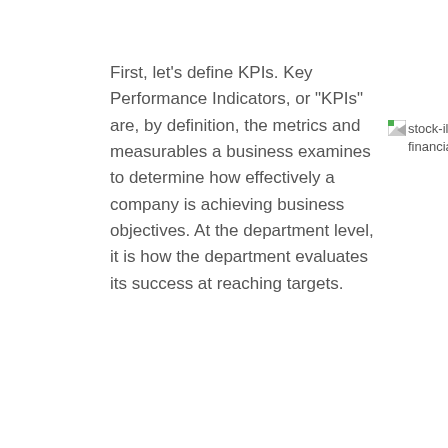First, let's define KPIs. Key Performance Indicators, or "KPIs" are, by definition, the metrics and measurables a business examines to determine how effectively a company is achieving business objectives. At the department level, it is how the department evaluates its success at reaching targets.
[Figure (illustration): Broken image placeholder labeled stock-illustration-82541387-financial-analyst]